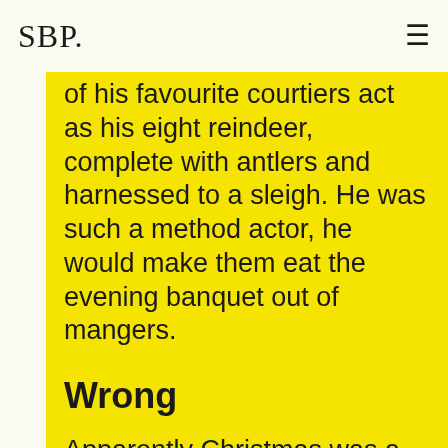SBP.
of his favourite courtiers act as his eight reindeer, complete with antlers and harnessed to a sleigh. He was such a method actor, he would make them eat the evening banquet out of mangers.
Wrong
Apparently Christmas was a bit of a fizzer in Versailles, thanks to the snobbishness of Louis XIV's brother Philippe, who despite marrying a German princess, couldn't abide the idea of adopting any of her delightfully